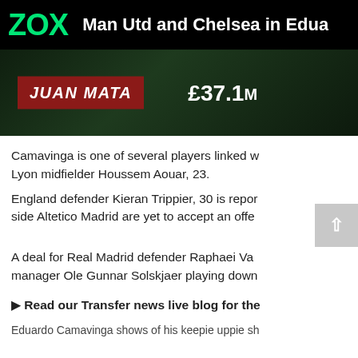ZOX — Man Utd and Chelsea in Edua...
[Figure (photo): Dark background image showing player info bar with 'JUAN MATA' in red badge on left and '£37.1M' in white text on right]
Camavinga is one of several players linked w... Lyon midfielder Houssem Aouar, 23.
England defender Kieran Trippier, 30 is repor... side Altetico Madrid are yet to accept an offe...
A deal for Real Madrid defender Raphaei Va... manager Ole Gunnar Solskjaer playing down...
▶ Read our Transfer news live blog for the...
Eduardo Camavinga shows of his keepie uppie sh...